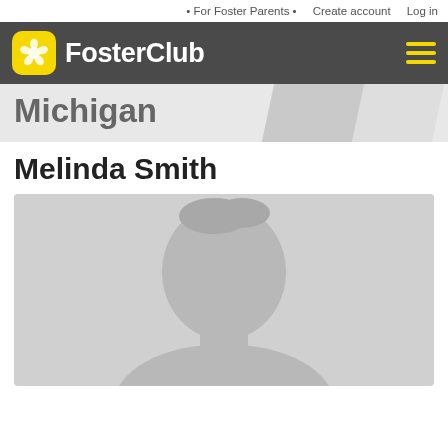• For Foster Parents •   Create account   Log in
[Figure (logo): FosterClub logo with pinwheel icon on yellow rounded square background and white text on dark grey navigation bar with yellow hamburger menu icon]
Michigan
Melinda Smith
[Figure (photo): Default grey silhouette profile photo placeholder showing anonymous person head and shoulders against light grey background]